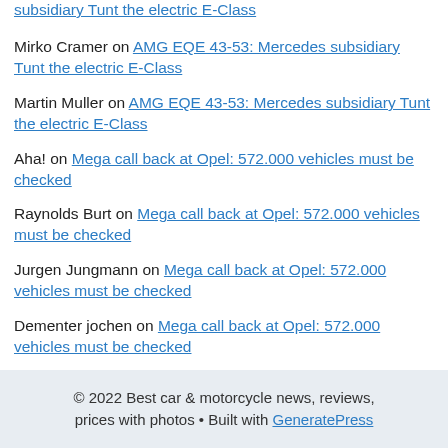subsidiary Tunt the electric E-Class (link)
Mirko Cramer on AMG EQE 43-53: Mercedes subsidiary Tunt the electric E-Class
Martin Muller on AMG EQE 43-53: Mercedes subsidiary Tunt the electric E-Class
Aha! on Mega call back at Opel: 572.000 vehicles must be checked
Raynolds Burt on Mega call back at Opel: 572.000 vehicles must be checked
Jurgen Jungmann on Mega call back at Opel: 572.000 vehicles must be checked
Dementer jochen on Mega call back at Opel: 572.000 vehicles must be checked
© 2022 Best car & motorcycle news, reviews, prices with photos • Built with GeneratePress